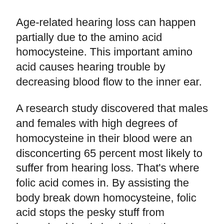Age-related hearing loss can happen partially due to the amino acid homocysteine. This important amino acid causes hearing trouble by decreasing blood flow to the inner ear.
A research study discovered that males and females with high degrees of homocysteine in their blood were an disconcerting 65 percent most likely to suffer from hearing loss. That's where folic acid comes in. By assisting the body break down homocysteine, folic acid stops the pesky stuff from lessening blood circulation to the ear.
In a 2010 research study, audiologists found that people with reduced degrees of folic